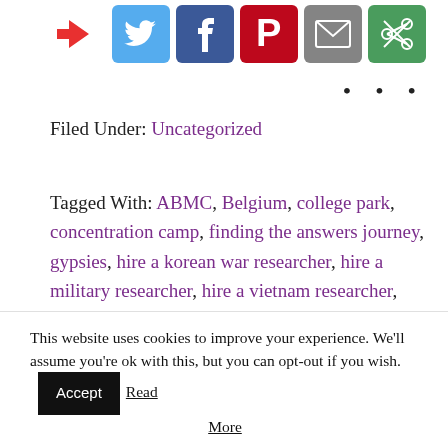[Figure (other): Social sharing icons row: arrow/share icon (red), Twitter (light blue), Facebook (blue), Pinterest (red/pink), email/envelope (grey), another share icon (green)]
• • •
Filed Under: Uncategorized
Tagged With: ABMC, Belgium, college park, concentration camp, finding the answers journey, gypsies, hire a korean war researcher, hire a military researcher, hire a vietnam researcher, hire a WWII researcher, holocaust, jews, Kazerne Dossin, military records research service, NARA, Nazi, NPRC, SS, transit camp, trauma, travel, WWII,
This website uses cookies to improve your experience. We'll assume you're ok with this, but you can opt-out if you wish. [Accept] Read More